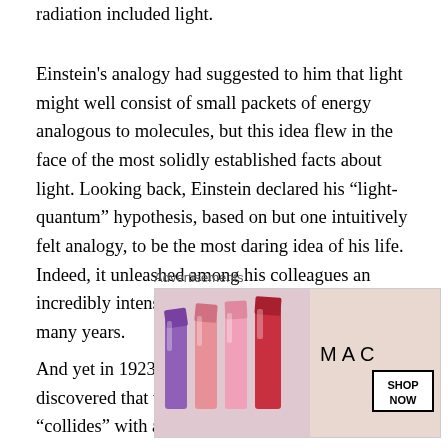radiation included light.
Einstein's analogy had suggested to him that light might well consist of small packets of energy analogous to molecules, but this idea flew in the face of the most solidly established facts about light. Looking back, Einstein declared his “light-quantum” hypothesis, based on but one intuitively felt analogy, to be the most daring idea of his life. Indeed, it unleashed among his colleagues an incredibly intense barrage of hostility that lasted many years.
And yet in 1923, Arthur Holley Compton discovered that when an electromagnetic wave “collides” with an
Advertisements
[Figure (other): MAC cosmetics advertisement showing lipsticks in purple, pink and red shades alongside MAC logo and SHOP NOW button]